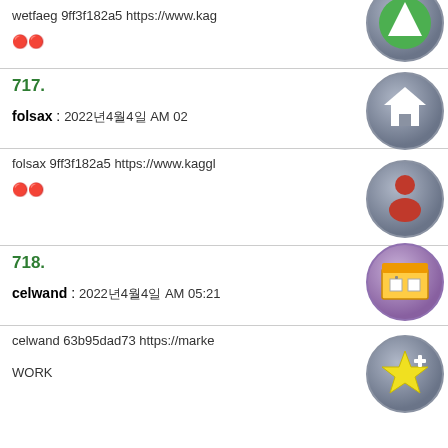wetfaeg 9ff3f182a5 https://www.kag...
🔴🔴
[Figure (illustration): Circular avatar icon with green upward arrow on metallic blue background]
717.
folsax : 2022년4월4일 AM 02...
[Figure (illustration): Circular avatar icon with house/home symbol on metallic blue background]
folsax 9ff3f182a5 https://www.kaggl...
🔴🔴
[Figure (illustration): Circular avatar icon with red person/user silhouette on metallic blue background]
718.
celwand : 2022년4월4일 AM 05:21
[Figure (illustration): Circular avatar icon with store/shop building on metallic/purple background]
celwand 63b95dad73 https://marke...
WORK
[Figure (illustration): Circular avatar icon with yellow star and plus sign on metallic blue background]